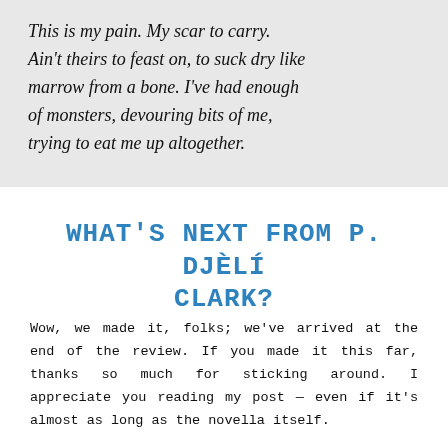This is my pain. My scar to carry. Ain't theirs to feast on, to suck dry like marrow from a bone. I've had enough of monsters, devouring bits of me, trying to eat me up altogether.
WHAT'S NEXT FROM P. DJÈLÍ CLARK?
Wow, we made it, folks; we've arrived at the end of the review. If you made it this far, thanks so much for sticking around. I appreciate you reading my post — even if it's almost as long as the novella itself.